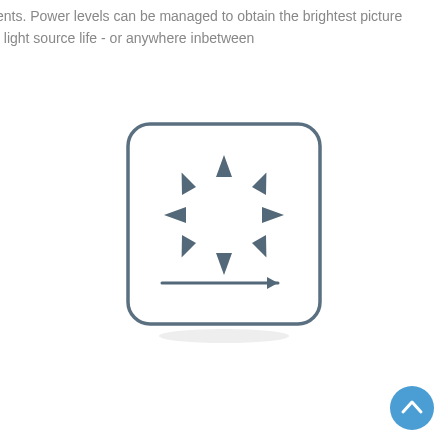ents. Power levels can be managed to obtain the brightest picture t light source life - or anywhere inbetween
[Figure (illustration): A rounded square icon containing a sun symbol (circle with pointed rays) above a horizontal arrow pointing right, with a subtle elliptical shadow beneath the icon.]